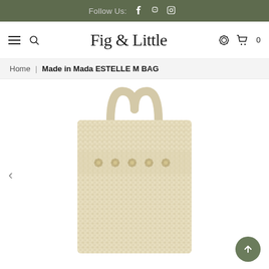Follow Us: [Facebook] [Pinterest] [Instagram]
Fig & Little
Home | Made in Mada ESTELLE M BAG
[Figure (photo): A woven straw tote bag (ESTELLE M BAG by Made in Mada) photographed on a white background. The bag is beige/natural colored with a textured crochet body, decorative floral/geometric woven pattern band near the top, and two short handles.]